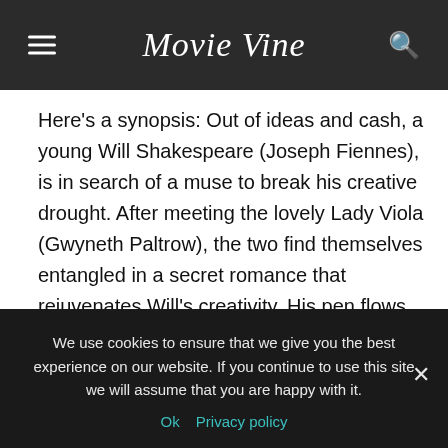Movie Vine
Here's a synopsis: Out of ideas and cash, a young Will Shakespeare (Joseph Fiennes), is in search of a muse to break his creative drought. After meeting the lovely Lady Viola (Gwyneth Paltrow), the two find themselves entangled in a secret romance that rejuvenates Will's creativity. His pen flows like never before until he uncovers two unexpected truths about his new lover – she's promised to marry someone else, and she's successfully impersonating a man to play the lead in Will's latest play.
We use cookies to ensure that we give you the best experience on our website. If you continue to use this site we will assume that you are happy with it.
Ok  Privacy policy